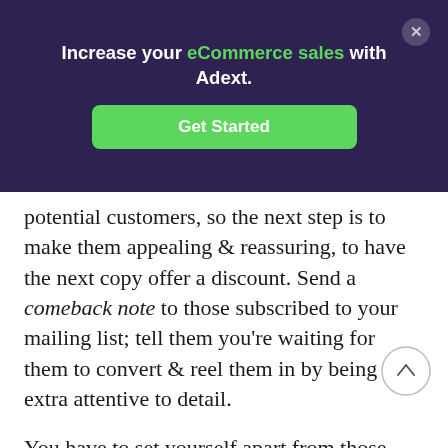[Figure (other): Dark purple promotional banner with text 'Increase your eCommerce sales with Adext.' and a green 'Get Started' button, plus a close (X) button in the top right.]
potential customers, so the next step is to make them appealing & reassuring, to have the next copy offer a discount. Send a comeback note to those subscribed to your mailing list; tell them you're waiting for them to convert & reel them in by being extra attentive to detail.
You have to set yourself apart from those other options your potential converter already sought out. Your